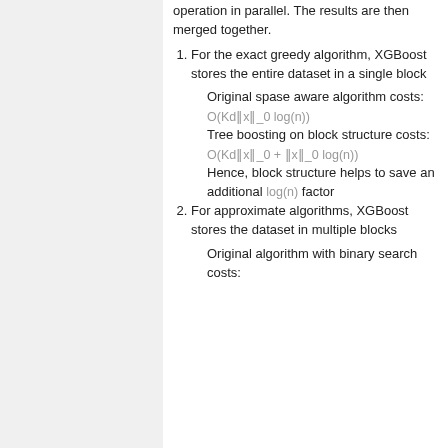operation in parallel. The results are then merged together.
1. For the exact greedy algorithm, XGBoost stores the entire dataset in a single block
Original spase aware algorithm costs: O(Kd||x||_0 log(n))
Tree boosting on block structure costs: O(Kd||x||_0 + ||x||_0 log(n))
Hence, block structure helps to save an additional log(n) factor
2. For approximate algorithms, XGBoost stores the dataset in multiple blocks
Original algorithm with binary search costs: